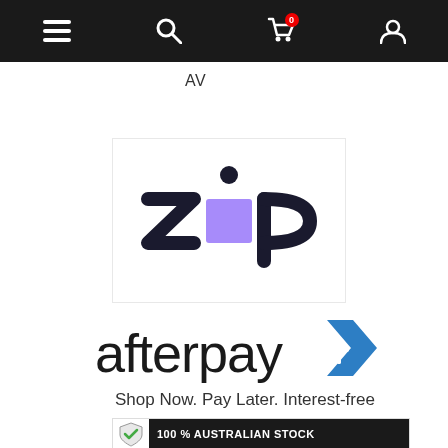Navigation bar with menu, search, cart (0), and account icons
AV
[Figure (logo): Zip logo: bold dark letters Z and P with a purple square replacing the letter I and a dot above]
[Figure (logo): Afterpay logo: dark lowercase 'afterpay' text with a blue geometric arrow/chevron symbol]
Shop Now. Pay Later. Interest-free
[Figure (infographic): Banner with shield icon on left and black background text '100 % AUSTRALIAN STOCK']